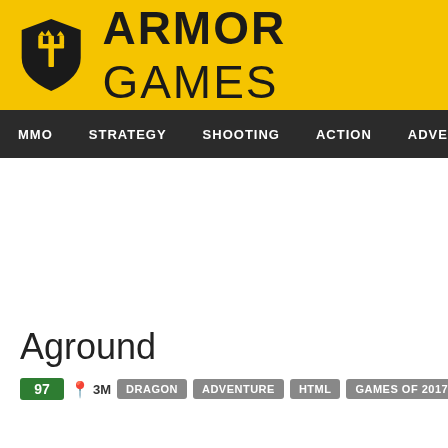[Figure (logo): Armor Games logo: yellow header bar with shield icon and bold 'ARMOR GAMES' text]
MMO  STRATEGY  SHOOTING  ACTION  ADVENTURE  P
Aground
97  3M  DRAGON  ADVENTURE  HTML  GAMES OF 2017  SURVIVAL